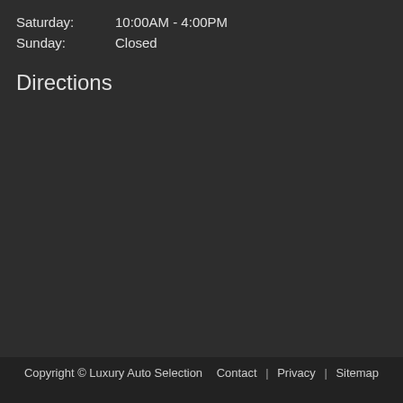Saturday:   10:00AM - 4:00PM
Sunday:   Closed
Directions
Copyright © Luxury Auto Selection   Contact | Privacy | Sitemap